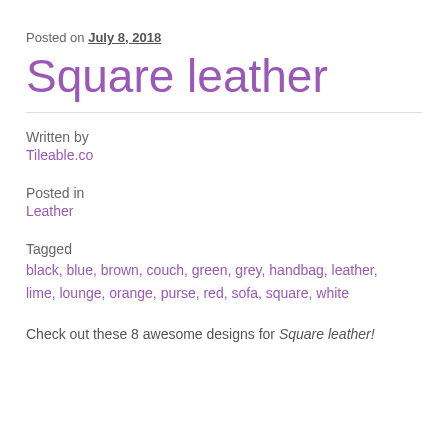Posted on July 8, 2018
Square leather
Written by
Tileable.co
Posted in
Leather
Tagged
black, blue, brown, couch, green, grey, handbag, leather, lime, lounge, orange, purse, red, sofa, square, white
Check out these 8 awesome designs for Square leather!